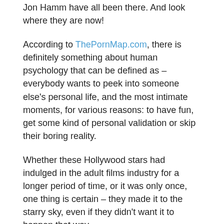Jon Hamm have all been there. And look where they are now!
According to ThePornMap.com, there is definitely something about human psychology that can be defined as – everybody wants to peek into someone else's personal life, and the most intimate moments, for various reasons: to have fun, get some kind of personal validation or skip their boring reality.
Whether these Hollywood stars had indulged in the adult films industry for a longer period of time, or it was only once, one thing is certain – they made it to the starry sky, even if they didn't want it to happen that way.
Considering the fact that it's so hard to become famous in Hollywood, there has to be something that could allow them to achieve their goals and reach their dreams, or in other words, a shortcut. If we leave out the celebs that didn't